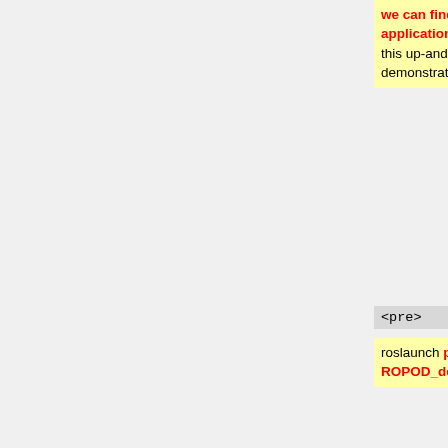we can find the configurations in the applications-folder. The command to get this up-and-running for the first demonstrations are as follows:
running for the first demonstrations are as follows:
<pre>
<pre>
roslaunch pico_navigation_test ROPOD_demo_dec2017_gazebosim.launch
roslaunch maneuver_navigation maneuver_navigation.launch
</pre>
</pre>
Now, you will see the environment showing up and the costmaps of the navigation package. If you want more information about this, e.g. how to set up this description and how the world-model is used for localization
Run this command in a new terminal, while the r2start command is still running in the old terminal. Now, you will see the environment showing up of the